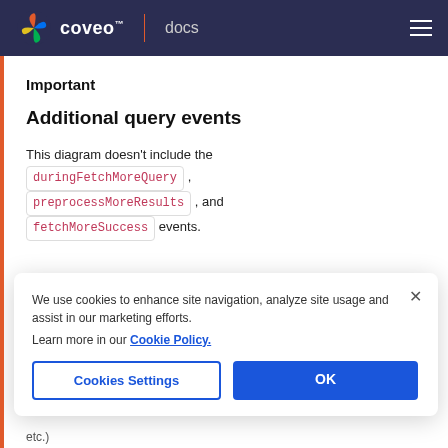coveo™ | docs
Important
Additional query events
This diagram doesn't include the duringFetchMoreQuery , preprocessMoreResults , and fetchMoreSuccess events.
We use cookies to enhance site navigation, analyze site usage and assist in our marketing efforts. Learn more in our Cookie Policy.
Cookies Settings   OK